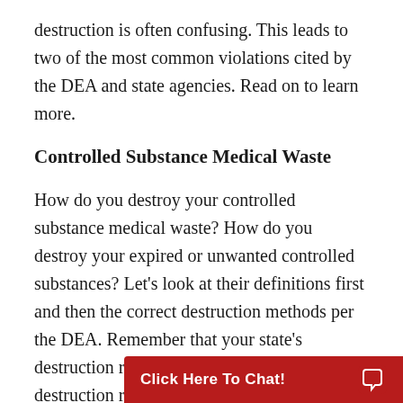destruction is often confusing. This leads to two of the most common violations cited by the DEA and state agencies. Read on to learn more.
Controlled Substance Medical Waste
How do you destroy your controlled substance medical waste? How do you destroy your expired or unwanted controlled substances? Let's look at their definitions first and then the correct destruction methods per the DEA. Remember that your state's destruction regs may differ from Federal DEA destruction regs, so always follow the most st
[Figure (other): Red chat button overlay with text 'Click Here To Chat!' and a chat bubble icon]